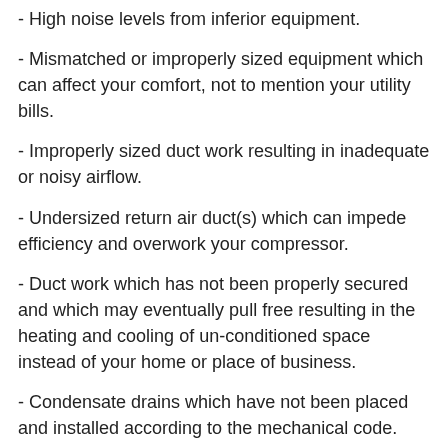- High noise levels from inferior equipment.
- Mismatched or improperly sized equipment which can affect your comfort, not to mention your utility bills.
- Improperly sized duct work resulting in inadequate or noisy airflow.
- Undersized return air duct(s) which can impede efficiency and overwork your compressor.
- Duct work which has not been properly secured and which may eventually pull free resulting in the heating and cooling of un-conditioned space instead of your home or place of business.
- Condensate drains which have not been placed and installed according to the mechanical code.